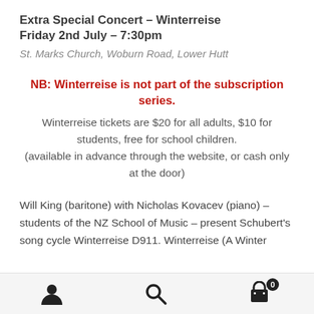Extra Special Concert – Winterreise
Friday 2nd July – 7:30pm
St. Marks Church, Woburn Road, Lower Hutt
NB: Winterreise is not part of the subscription series.
Winterreise tickets are $20 for all adults, $10 for students, free for school children.
(available in advance through the website, or cash only at the door)
Will King (baritone) with Nicholas Kovacev (piano) – students of the NZ School of Music – present Schubert's song cycle Winterreise D911. Winterreise (A Winter
Navigation icons: user, search, cart (0)